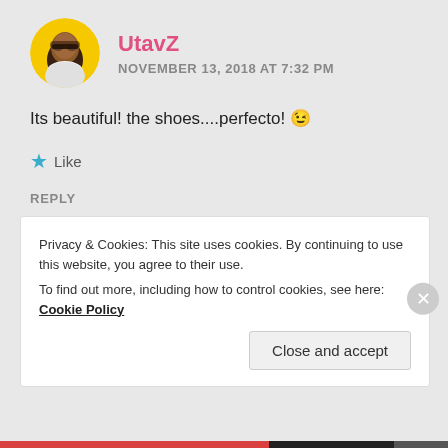[Figure (photo): Circular avatar photo of a woman with glasses and natural hair, yellow background]
UtavZ
NOVEMBER 13, 2018 AT 7:32 PM
Its beautiful! the shoes....perfecto! 😉
★ Like
REPLY
Privacy & Cookies: This site uses cookies. By continuing to use this website, you agree to their use.
To find out more, including how to control cookies, see here: Cookie Policy
Close and accept